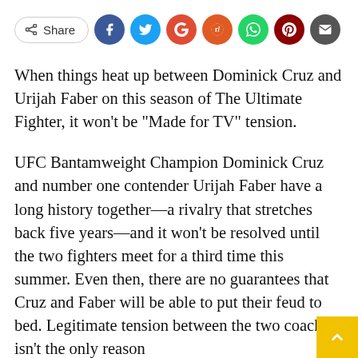[Figure (other): Social sharing bar with Share button and social media icons: Facebook, Twitter, Google, Reddit, WhatsApp, Pinterest, Email]
When things heat up between Dominick Cruz and Urijah Faber on this season of The Ultimate Fighter, it won't be “Made for TV” tension.
UFC Bantamweight Champion Dominick Cruz and number one contender Urijah Faber have a long history together—a rivalry that stretches back five years—and it won't be resolved until the two fighters meet for a third time this summer. Even then, there are no guarantees that Cruz and Faber will be able to put their feud to bed. Legitimate tension between the two coaches isn't the only reason